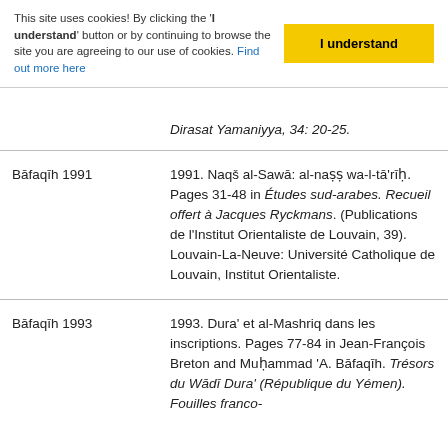This site uses cookies! By clicking the 'I understand' button or by continuing to browse the site you are agreeing to our use of cookies. Find out more here
I understand
Dirasat Yamaniyya, 34: 20-25.
Bāfaqīh 1991 | 1991. Naqš al-Sawā: al-naṣṣ wa-l-tā'rīḥ. Pages 31-48 in Études sud-arabes. Recueil offert à Jacques Ryckmans. (Publications de l'Institut Orientaliste de Louvain, 39). Louvain-La-Neuve: Université Catholique de Louvain, Institut Orientaliste.
Bāfaqīh 1993 | 1993. Dura' et al-Mashriq dans les inscriptions. Pages 77-84 in Jean-François Breton and Muḥammad 'A. Bāfaqīh. Trésors du Wādī Dura' (République du Yémen). Fouilles franco-